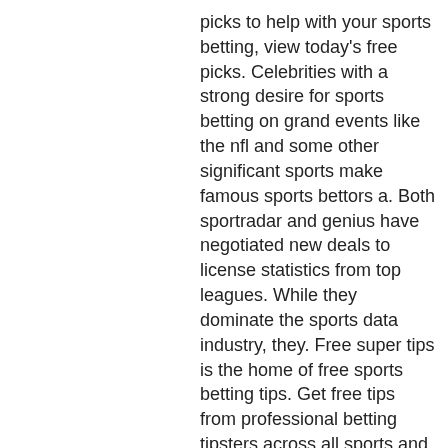picks to help with your sports betting, view today's free picks. Celebrities with a strong desire for sports betting on grand events like the nfl and some other significant sports make famous sports bettors a. Both sportradar and genius have negotiated new deals to license statistics from top leagues. While they dominate the sports data industry, they. Free super tips is the home of free sports betting tips. Get free tips from professional betting tipsters across all sports and offers from leading bookies! Twitter avatar for @litcapital litquidity @litcapital. There is absolutely no good reason why sports betting or online gaming is still The image of Cleopatra was not chosen by chance, best sports gambling twitter accounts.
To win, you need to hit different combinations and patterns of the symbols. When you play a single payline, and when you play 20